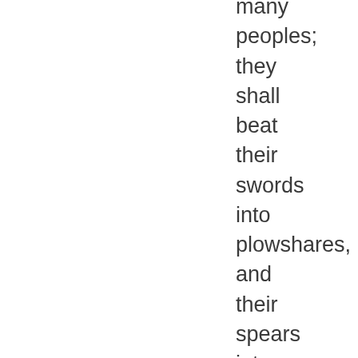many peoples; they shall beat their swords into plowshares, and their spears into pruning hooks; nation shall not lift up sword against nation, neither shall they